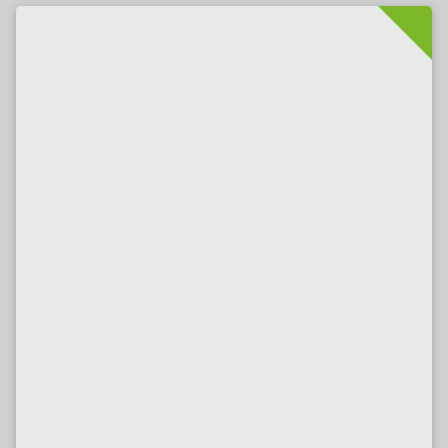[Figure (screenshot): Gray placeholder image card with green corner ribbon, part of a photo listing UI]
St. Gallen, Switzerland 1600x1200 ID 11303
14 years ago   ♥ 0   ⬇ 710   👁 6496
[Figure (screenshot): Second gray placeholder image card with magnifying glass icon and green diagonal 1600X1200 ribbon in top-right corner]